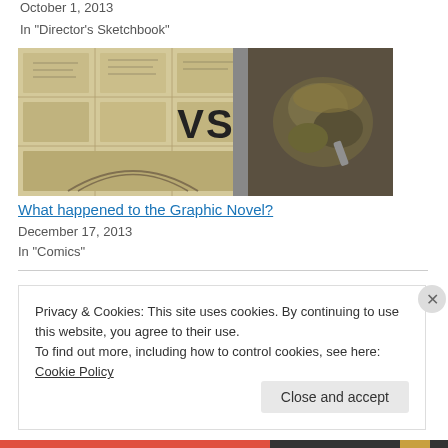October 1, 2013
In "Director's Sketchbook"
[Figure (illustration): Composite image showing a sketchbook with pencil drawings on the left side and a photograph of hands on the right side, with bold text 'VS' in the center]
What happened to the Graphic Novel?
December 17, 2013
In "Comics"
Privacy & Cookies: This site uses cookies. By continuing to use this website, you agree to their use.
To find out more, including how to control cookies, see here: Cookie Policy